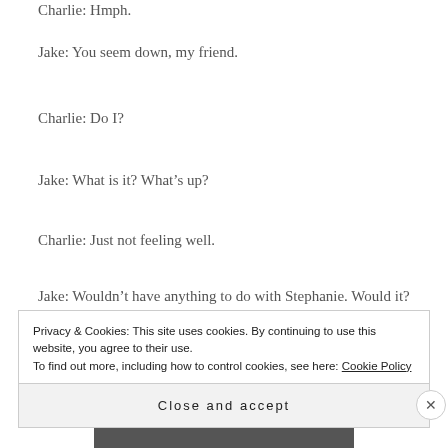Charlie: Hmph.
Jake: You seem down, my friend.
Charlie: Do I?
Jake: What is it? What’s up?
Charlie: Just not feeling well.
Jake: Wouldn’t have anything to do with Stephanie. Would it?
Privacy & Cookies: This site uses cookies. By continuing to use this website, you agree to their use.
To find out more, including how to control cookies, see here: Cookie Policy
Close and accept
Advertisements